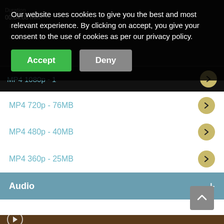Our website uses cookies to give you the best and most relevant experience. By clicking on accept, you give your consent to the use of cookies as per our privacy policy.
Accept
Deny
00:04:08 min
MP4 1080p - ...
MP4 720p - 76MB
MP4 480p - 40MB
MP4 360p - 25MB
Audio
New Year
[Figure (screenshot): Video download page showing MP4 options at various resolutions (1080p, 720p, 480p, 360p) and an Audio section with a cookie consent banner overlay]